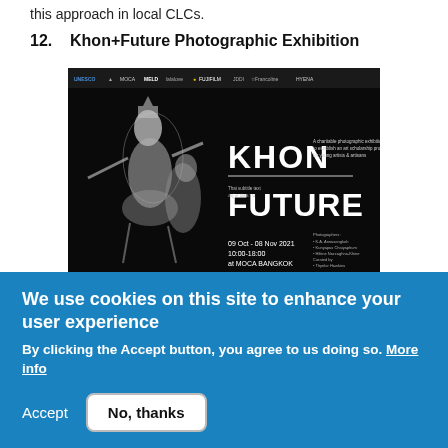this approach in local CLCs.
12.    Khon+Future Photographic Exhibition
[Figure (photo): Black and white promotional poster for 'KHON | FUTURE' photographic exhibition at MOCA Bangkok, 09 Oct – 08 Nov 2021, 10:00–18:00, featuring logos of various sponsors including UNESCO, MOCA, MELD, Fujifilm, HYENA and others, with imagery of Thai classical dance (Khon) performers on the left side.]
In collaboration with the SUPPORT Foundation of Her Majesty Queen Sirikit; the Museum of Contemporary Art (MOCA), Bangkok; and the Korean cosmetics and skincare company
We use cookies on this site to enhance your user experience
By clicking the Accept button, you agree to us doing so. More info
Accept
No, thanks